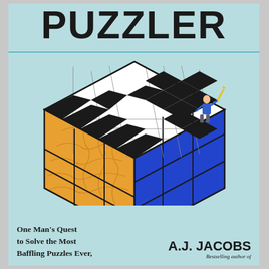PUZZLER
[Figure (illustration): A Rubik's cube-like 3D cube with the top face showing a crossword puzzle grid (black and white squares), the left face showing an orange jigsaw puzzle texture, and the right face showing blue solid squares. A small illustrated figure of a person stands on top of the cube holding a pen/pencil.]
One Man's Quest to Solve the Most Baffling Puzzles Ever,
A.J. JACOBS
Bestselling author of